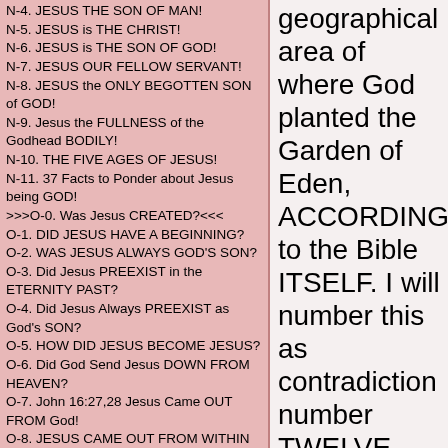N-4. JESUS THE SON OF MAN!
N-5. JESUS is THE CHRIST!
N-6. JESUS is THE SON OF GOD!
N-7. JESUS OUR FELLOW SERVANT!
N-8. JESUS the ONLY BEGOTTEN SON of GOD!
N-9. Jesus the FULLNESS of the Godhead BODILY!
N-10. THE FIVE AGES OF JESUS!
N-11. 37 Facts to Ponder about Jesus being GOD!
>>>O-0. Was Jesus CREATED?<<<
O-1. DID JESUS HAVE A BEGINNING?
O-2. WAS JESUS ALWAYS GOD'S SON?
O-3. Did Jesus PREEXIST in the ETERNITY PAST?
O-4. Did Jesus Always PREEXIST as God's SON?
O-5. HOW DID JESUS BECOME JESUS?
O-6. Did God Send Jesus DOWN FROM HEAVEN?
O-7. John 16:27,28 Jesus Came OUT FROM God!
O-8. JESUS CAME OUT FROM WITHIN GOD!
O-9. THE DAYS OF THE FLESH OF JESUS!
O-10. THE FULLY HUMAN JESUS!
O-11. THE MAN JESUS CHRIST!
O-12. Jesus said WHO DO YOU SAY THAT I AM?
O-13. What does Firstborn of every Creature mean
O-14. When did Jesus Become God's Son? Part 1
O-15. When did Jesus Become God's Son? Part 2
geographical area of where God planted the Garden of Eden, ACCORDING to the Bible ITSELF. I will number this as contradiction number TWELVE